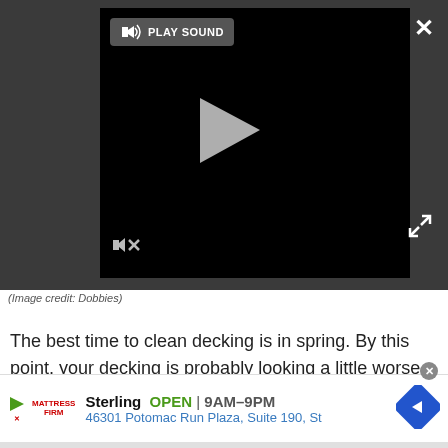[Figure (screenshot): Video player with dark background, showing a play button (triangle), mute icon, PLAY SOUND button, close X button, and expand icon]
(Image credit: Dobbies)
The best time to clean decking is in spring. By this point, your decking is probably looking a little worse-for-wear after winter. It's lovely to get it back to its former glory in time for warmer weather, along with our other spring
[Figure (screenshot): Mattress Firm advertisement: Sterling OPEN 9AM-9PM, 46301 Potomac Run Plaza, Suite 190, St]